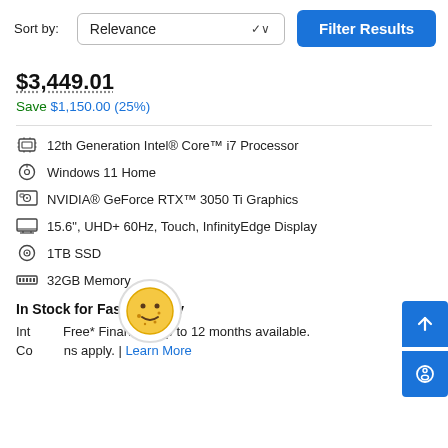Sort by:
Relevance
Filter Results
$3,449.01
Save $1,150.00 (25%)
12th Generation Intel® Core™ i7 Processor
Windows 11 Home
NVIDIA® GeForce RTX™ 3050 Ti Graphics
15.6", UHD+ 60Hz, Touch, InfinityEdge Display
1TB SSD
32GB Memory
In Stock for Fast Delivery
Interest Free* Financing up to 12 months available. Conditions apply. | Learn More